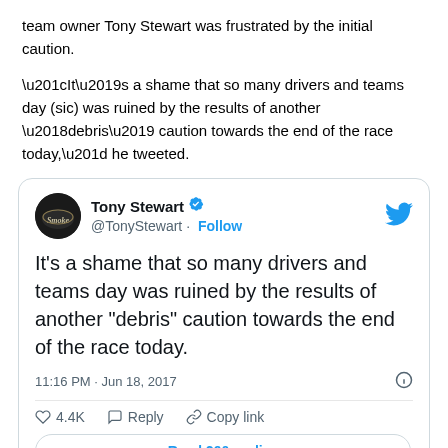team owner Tony Stewart was frustrated by the initial caution.
“It’s a shame that so many drivers and teams day (sic) was ruined by the results of another ‘debris’ caution towards the end of the race today,” he tweeted.
[Figure (screenshot): Embedded tweet from @TonyStewart (verified) dated 11:16 PM · Jun 18, 2017. Tweet text: It’s a shame that so many drivers and teams day was ruined by the results of another "debris" caution towards the end of the race today. Engagement: 4.4K likes, Reply, Copy link. Button: Read 290 replies.]